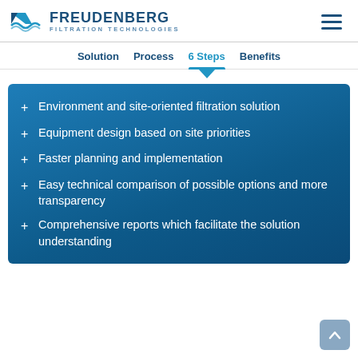[Figure (logo): Freudenberg Filtration Technologies logo with wave icon]
Solution   Process   6 Steps   Benefits
+ Environment and site-oriented filtration solution
+ Equipment design based on site priorities
+ Faster planning and implementation
+ Easy technical comparison of possible options and more transparency
+ Comprehensive reports which facilitate the solution understanding